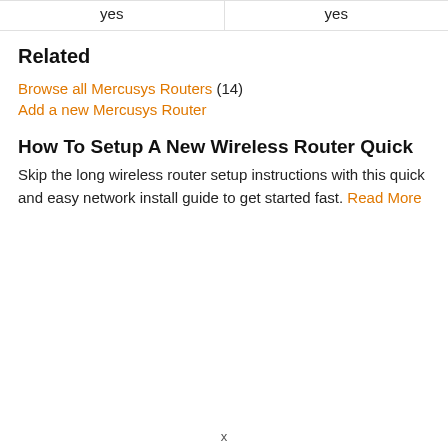| yes | yes |
Related
Browse all Mercusys Routers (14)
Add a new Mercusys Router
How To Setup A New Wireless Router Quick
Skip the long wireless router setup instructions with this quick and easy network install guide to get started fast. Read More